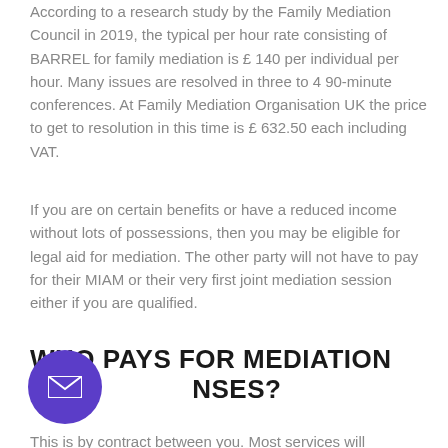According to a research study by the Family Mediation Council in 2019, the typical per hour rate consisting of BARREL for family mediation is £ 140 per individual per hour. Many issues are resolved in three to 4 90-minute conferences. At Family Mediation Organisation UK the price to get to resolution in this time is £ 632.50 each including VAT.
If you are on certain benefits or have a reduced income without lots of possessions, then you may be eligible for legal aid for mediation. The other party will not have to pay for their MIAM or their very first joint mediation session either if you are qualified.
WHO PAYS FOR MEDIATION EXPENSES?
This is by contract between you. Most services will